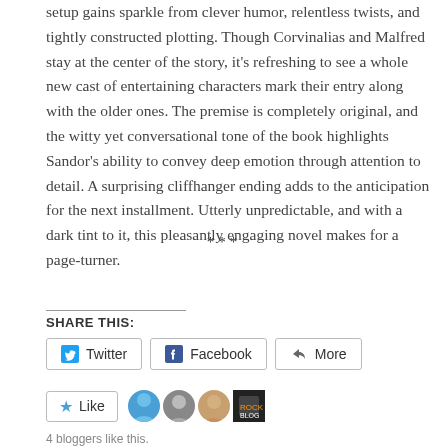setup gains sparkle from clever humor, relentless twists, and tightly constructed plotting. Though Corvinalias and Malfred stay at the center of the story, it's refreshing to see a whole new cast of entertaining characters mark their entry along with the older ones. The premise is completely original, and the witty yet conversational tone of the book highlights Sandor's ability to convey deep emotion through attention to detail. A surprising cliffhanger ending adds to the anticipation for the next installment. Utterly unpredictable, and with a dark tint to it, this pleasantly engaging novel makes for a page-turner.
***
SHARE THIS:
Twitter | Facebook | More
Like | 4 bloggers like this.